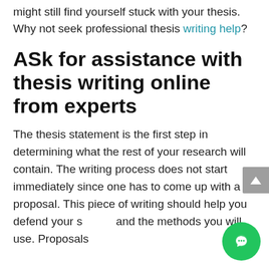might still find yourself stuck with your thesis. Why not seek professional thesis writing help?
ASk for assistance with thesis writing online from experts
The thesis statement is the first step in determining what the rest of your research will contain. The writing process does not start immediately since one has to come up with a proposal. This piece of writing should help you defend your subject and the methods you will use. Proposals